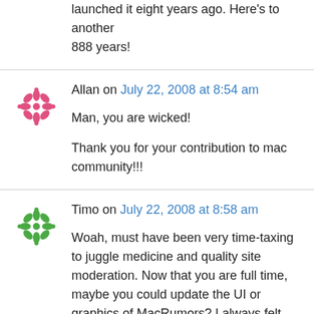launched it eight years ago. Here's to another 888 years!
Allan on July 22, 2008 at 8:54 am
Man, you are wicked!

Thank you for your contribution to mac community!!!
Timo on July 22, 2008 at 8:58 am
Woah, must have been very time-taxing to juggle medicine and quality site moderation. Now that you are full time, maybe you could update the UI or graphics of MacRumors? I always felt the site looks a bit non-unified graphically compared to